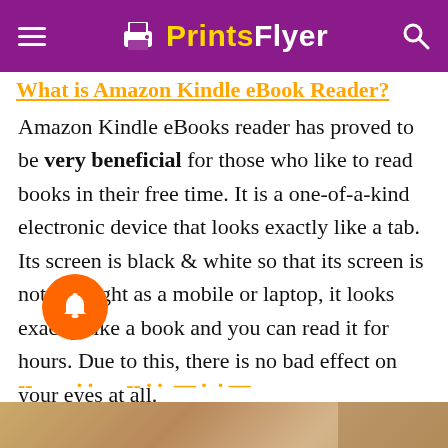Prints Flyer
What is Amazon Kindle eBook Reader?
Amazon Kindle eBooks reader has proved to be very beneficial for those who like to read books in their free time. It is a one-of-a-kind electronic device that looks exactly like a tab. Its screen is black & white so that its screen is not as bright as a mobile or laptop, it looks exactly like a book and you can read it for hours. Due to this, there is no bad effect on your eyes at all.
[Figure (other): Orange circular notification bell button]
[Figure (photo): Partial bottom image strip, appears to be a photo]